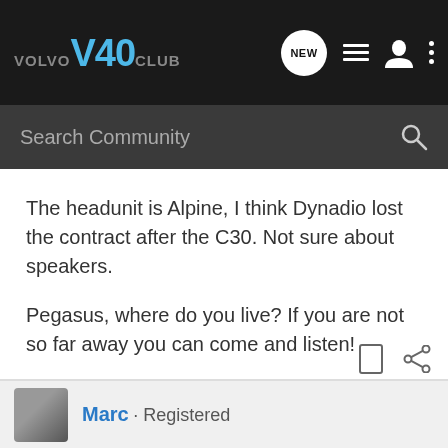VOLVO V40 CLUB
Search Community
The headunit is Alpine, I think Dynadio lost the contract after the C30. Not sure about speakers.
Pegasus, where do you live? If you are not so far away you can come and listen!
Surely some dealer will have demo car with the premium system?
Bruce
Marc · Registered